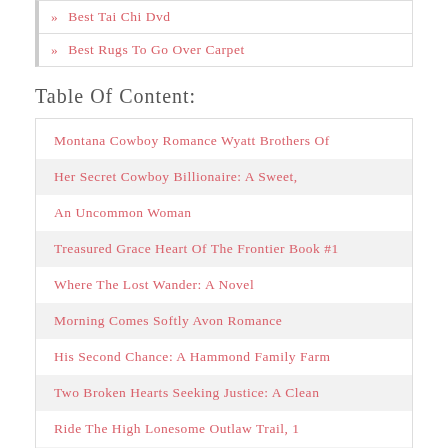» Best Tai Chi Dvd
» Best Rugs To Go Over Carpet
Table Of Content:
Montana Cowboy Romance Wyatt Brothers Of
Her Secret Cowboy Billionaire: A Sweet,
An Uncommon Woman
Treasured Grace Heart Of The Frontier Book #1
Where The Lost Wander: A Novel
Morning Comes Softly Avon Romance
His Second Chance: A Hammond Family Farm
Two Broken Hearts Seeking Justice: A Clean
Ride The High Lonesome Outlaw Trail, 1
Big Bad Cowboy Once Upon A Time In Texas